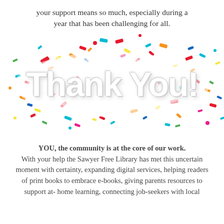your support means so much, especially during a year that has been challenging for all.
[Figure (illustration): Colorful confetti explosion with bold white 3D 'Thank You!' text in the center]
YOU, the community is at the core of our work. With your help the Sawyer Free Library has met this uncertain moment with certainty, expanding digital services, helping readers of print books to embrace e-books, giving parents resources to support at-home learning, connecting job-seekers with local